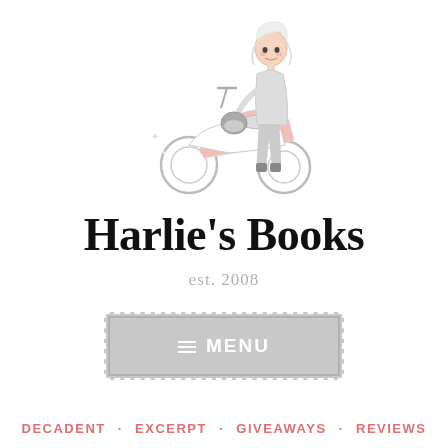[Figure (illustration): Cartoon illustration of a stylish girl with white/blonde hair standing next to a pink and white motor scooter, holding a helmet. Girl wears patterned leggings and a jacket.]
Harlie's Books
est. 2008
[Figure (other): Gray menu button with dashed white border, hamburger menu icon and text 'MENU']
DECADENT · EXCERPT · GIVEAWAYS · REVIEWS